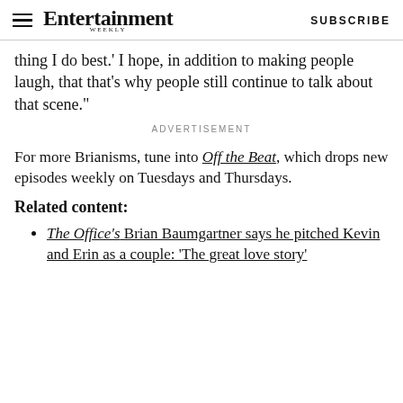Entertainment Weekly  SUBSCRIBE
thing I do best.' I hope, in addition to making people laugh, that that's why people still continue to talk about that scene."
ADVERTISEMENT
For more Brianisms, tune into Off the Beat, which drops new episodes weekly on Tuesdays and Thursdays.
Related content:
The Office's Brian Baumgartner says he pitched Kevin and Erin as a couple: 'The great love story'